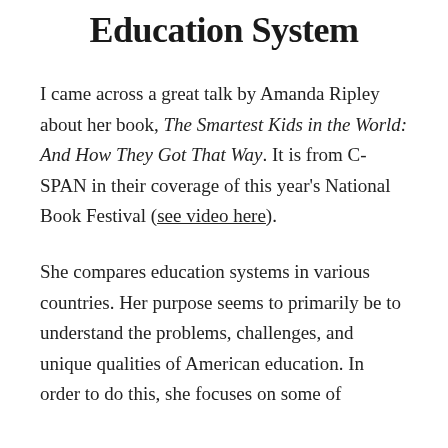Education System
I came across a great talk by Amanda Ripley about her book, The Smartest Kids in the World: And How They Got That Way. It is from C-SPAN in their coverage of this year's National Book Festival (see video here).
She compares education systems in various countries. Her purpose seems to primarily be to understand the problems, challenges, and unique qualities of American education. In order to do this, she focuses on some of